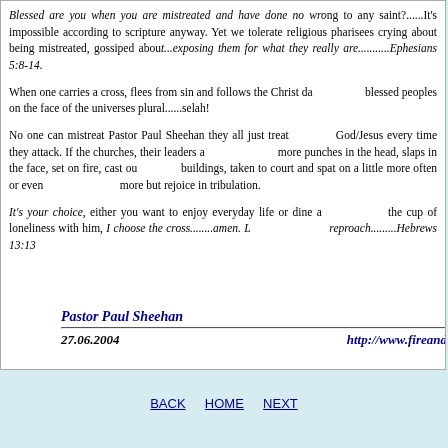Blessed are you when you are mistreated and have done no wrong to any saint?......It's impossible according to scripture anyway. Yet we tolerate religious pharisees crying about being mistreated, gossiped about...exposing them for what they really are...........Ephesians 5:8-14.
When one carries a cross, flees from sin and follows the Christ daily you are blessed peoples on the face of the universes plural......selah!
No one can mistreat Pastor Paul Sheehan they all just treat him like God/Jesus every time they attack. If the churches, their leaders and people gave more punches in the head, slaps in the face, set on fire, cast out of their buildings, taken to court and spat on a little more often or even daily we would more but rejoice in tribulation.
It's your choice, either you want to enjoy everyday life or dine at the table in the cup of loneliness with him, I choose the cross........amen. Let us go without reproach.........Hebrews 13:13
Pastor Paul Sheehan
27.06.2004 http://www.fireand
BACK  HOME  NEXT